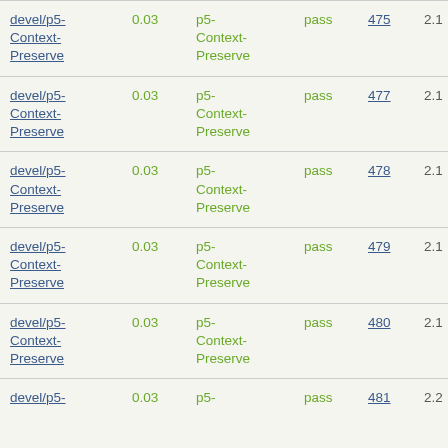| Package | Version | Package Name | Status | Bug | OS |
| --- | --- | --- | --- | --- | --- |
| devel/p5-Context-Preserve | 0.03 | p5-Context-Preserve | pass | 475 | 2.1 |
| devel/p5-Context-Preserve | 0.03 | p5-Context-Preserve | pass | 477 | 2.1 |
| devel/p5-Context-Preserve | 0.03 | p5-Context-Preserve | pass | 478 | 2.1 |
| devel/p5-Context-Preserve | 0.03 | p5-Context-Preserve | pass | 479 | 2.1 |
| devel/p5-Context-Preserve | 0.03 | p5-Context-Preserve | pass | 480 | 2.1 |
| devel/p5- | 0.03 | p5- | pass | 481 | 2.2 |